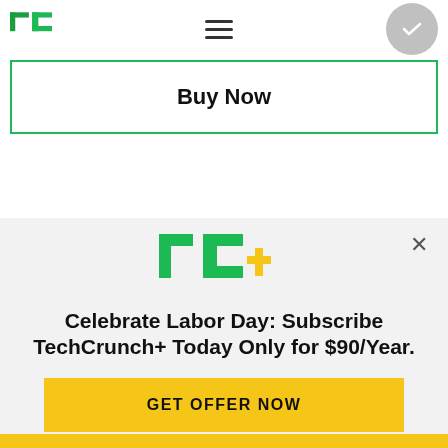[Figure (logo): TechCrunch TC logo in green]
[Figure (other): Hamburger menu icon (three lines)]
[Figure (other): Gray circular button with checkmark]
Buy Now
[Figure (logo): TC+ logo in green with gold plus sign]
Celebrate Labor Day: Subscribe TechCrunch+ Today Only for $90/Year.
GET OFFER NOW